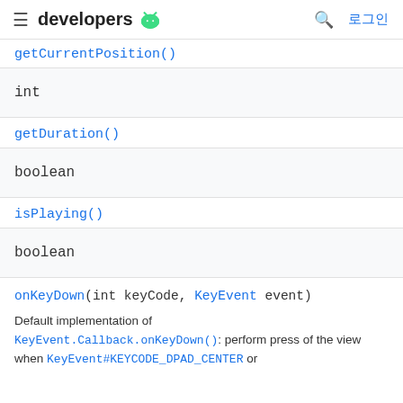developers [android logo] 로그인
getCurrentPosition()
int
getDuration()
boolean
isPlaying()
boolean
onKeyDown(int keyCode, KeyEvent event)
Default implementation of KeyEvent.Callback.onKeyDown(): perform press of the view when KeyEvent#KEYCODE_DPAD_CENTER or